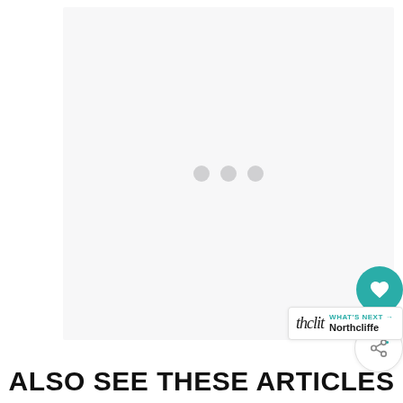[Figure (other): Large white/light gray content area with three loading dots in the center, indicating a loading placeholder for an image or media element. Also contains a teal heart/favorite button and a white share button on the right side, plus a 'What's Next' navigation bar at the bottom right.]
ALSO SEE THESE ARTICLES